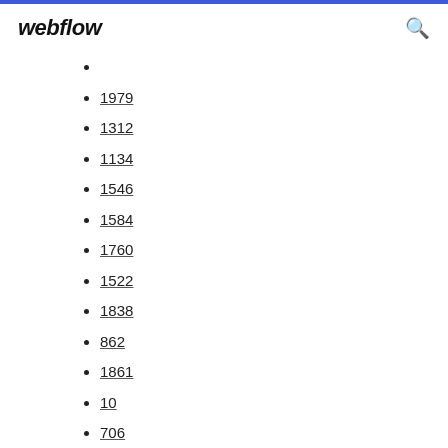webflow
1979
1312
1134
1546
1584
1760
1522
1838
862
1861
10
706